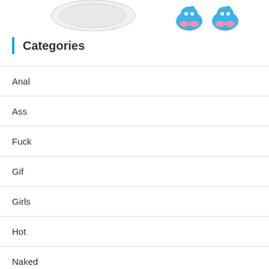[Figure (illustration): Partial top image strip showing product images including what appears to be a plate/dish and cartoon elephant shoe figures in blue and pink]
Categories
Anal
Ass
Fuck
Gif
Girls
Hot
Naked
Nude
Nude girls
Nude pics